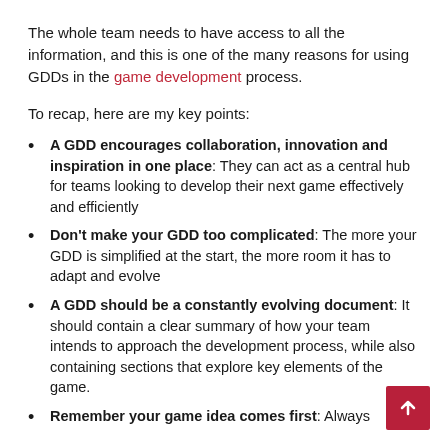The whole team needs to have access to all the information, and this is one of the many reasons for using GDDs in the game development process.
To recap, here are my key points:
A GDD encourages collaboration, innovation and inspiration in one place: They can act as a central hub for teams looking to develop their next game effectively and efficiently
Don't make your GDD too complicated: The more your GDD is simplified at the start, the more room it has to adapt and evolve
A GDD should be a constantly evolving document: It should contain a clear summary of how your team intends to approach the development process, while also containing sections that explore key elements of the game.
Remember your game idea comes first: Always